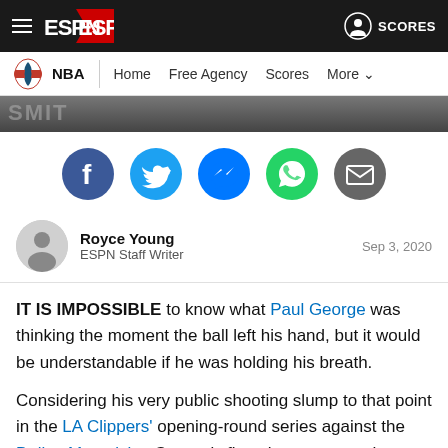ESPN NBA - Home Free Agency Scores More
[Figure (screenshot): Partial image strip showing 'SMITH' text on dark background]
[Figure (infographic): Social sharing icons: Facebook, Twitter, Messenger, WhatsApp, Email]
Royce Young · ESPN Staff Writer · Sep 3, 2020
IT IS IMPOSSIBLE to know what Paul George was thinking the moment the ball left his hand, but it would be understandable if he was holding his breath.
Considering his very public shooting slump to that point in the LA Clippers' opening-round series against the Dallas Mavericks, George's first shot -- a smooth, perfectly arching 17-foot jumper at the top of the key on LA's first possession of